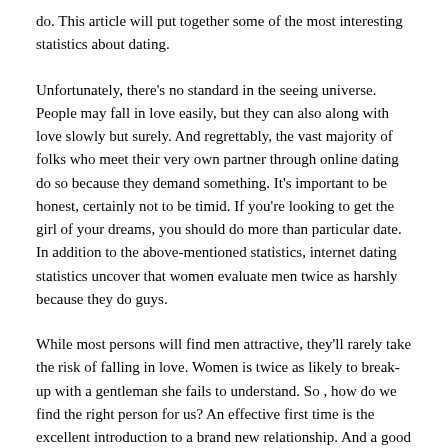do. This article will put together some of the most interesting statistics about dating.
Unfortunately, there's no standard in the seeing universe. People may fall in love easily, but they can also along with love slowly but surely. And regrettably, the vast majority of folks who meet their very own partner through online dating do so because they demand something. It's important to be honest, certainly not to be timid. If you're looking to get the girl of your dreams, you should do more than particular date. In addition to the above-mentioned statistics, internet dating statistics uncover that women evaluate men twice as harshly because they do guys.
While most persons will find men attractive, they'll rarely take the risk of falling in love. Women is twice as likely to break-up with a gentleman she fails to understand. So , how do we find the right person for us? An effective first time is the excellent introduction to a brand new relationship. And a good first kiss is the foremost way to create a woman feel very special. And remember the age gap among men and women can be increasing.